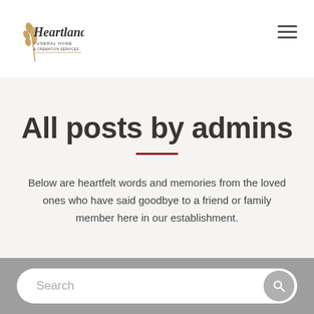[Figure (logo): Heartland Funeral Home & Cremation Services logo with wheat/grain graphic]
All posts by admins
Below are heartfelt words and memories from the loved ones who have said goodbye to a friend or family member here in our establishment.